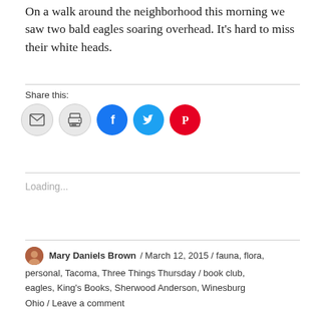On a walk around the neighborhood this morning we saw two bald eagles soaring overhead. It’s hard to miss their white heads.
Share this:
[Figure (infographic): Row of five social share icon circles: email (grey), print (grey), Facebook (blue), Twitter (cyan), Pinterest (red)]
Loading...
Mary Daniels Brown / March 12, 2015 / fauna, flora, personal, Tacoma, Three Things Thursday / book club, eagles, King’s Books, Sherwood Anderson, Winesburg Ohio / Leave a comment